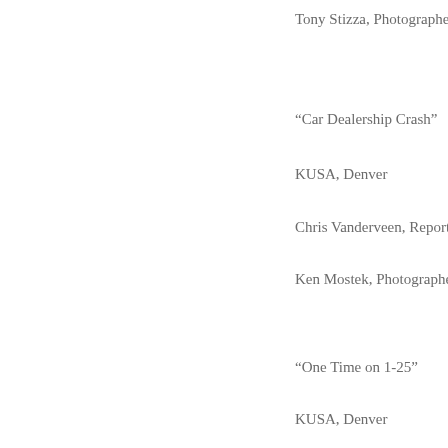Tony Stizza, Photographer
“Car Dealership Crash”
KUSA, Denver
Chris Vanderveen, Reporter
Ken Mostek, Photographer
“One Time on 1-25”
KUSA, Denver
Ken Mostek, Photojournalist
Adam Schrager, Reporter